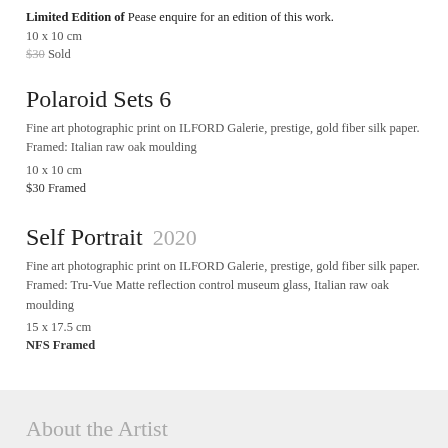Limited Edition of Pease enquire for an edition of this work.
10 x 10 cm
$30 Sold
Polaroid Sets 6
Fine art photographic print on ILFORD Galerie, prestige, gold fiber silk paper. Framed: Italian raw oak moulding
10 x 10 cm
$30 Framed
Self Portrait  2020
Fine art photographic print on ILFORD Galerie, prestige, gold fiber silk paper. Framed: Tru-Vue Matte reflection control museum glass, Italian raw oak moulding
15 x 17.5 cm
NFS Framed
About the Artist